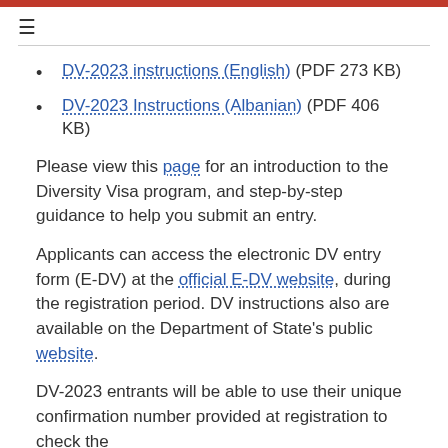≡
DV-2023 instructions (English) (PDF 273 KB)
DV-2023 Instructions (Albanian) (PDF 406 KB)
Please view this page for an introduction to the Diversity Visa program, and step-by-step guidance to help you submit an entry.
Applicants can access the electronic DV entry form (E-DV) at the official E-DV website, during the registration period. DV instructions also are available on the Department of State's public website.
DV-2023 entrants will be able to use their unique confirmation number provided at registration to check the